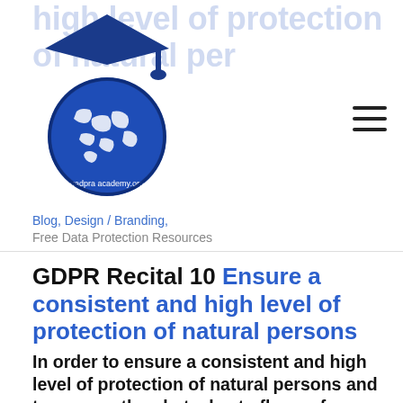high level of protection of natural persons
[Figure (logo): GDPR Academy logo: blue circle with world map and graduation cap, text gadpra academy.org]
Blog, Design / Branding, Free Data Protection Resources
GDPR Recital 10 Ensure a consistent and high level of protection of natural persons
In order to ensure a consistent and high level of protection of natural persons and to remove the obstacles to flows of personal data within the Union, the level of protection of the rights and freedoms of natural persons with regard to the